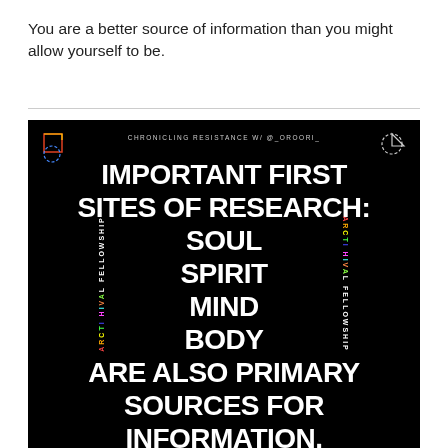You are a better source of information than you might allow yourself to be.
[Figure (infographic): Black background infographic with text: 'IMPORTANT FIRST SITES OF RESEARCH: SOUL SPIRIT MIND BODY ARE ALSO PRIMARY SOURCES FOR INFORMATION.' Header reads 'CHRONICLING RESISTANCE W/ @_OROORI_'. Side labels read 'ARCTI HIVAL FELLOWSHIP'. Decorative logos in top corners.]